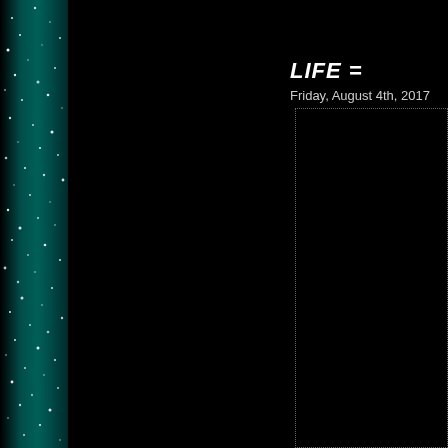[Figure (illustration): Dark starry night sky background with a teal/dark green vertical strip on the left side containing scattered white star-like dots/speckles]
LIFE =
Friday, August 4th, 2017